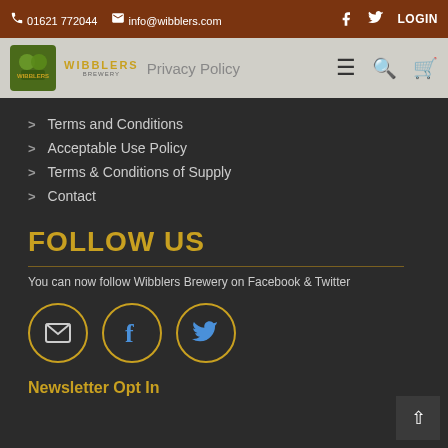01621 772044  info@wibblers.com  LOGIN
Privacy Policy — Wibblers Brewery navigation
Terms and Conditions
Acceptable Use Policy
Terms & Conditions of Supply
Contact
FOLLOW US
You can now follow Wibblers Brewery on Facebook & Twitter
[Figure (infographic): Three circular icon buttons with gold borders: envelope/email icon, Facebook 'f' icon, and Twitter bird icon]
Newsletter Opt In